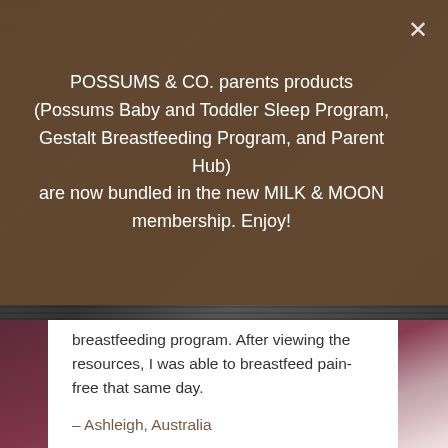[Figure (photo): Black and white photo background at top of page, with dark mauve/purple blurred photo at bottom of page]
POSSUMS & CO. parents products (Possums Baby and Toddler Sleep Program, Gestalt Breastfeeding Program, and Parent Hub) are now bundled in the new MILK & MOON membership. Enjoy!
breastfeeding program. After viewing the resources, I was able to breastfeed pain-free that same day.

– Ashleigh, Australia